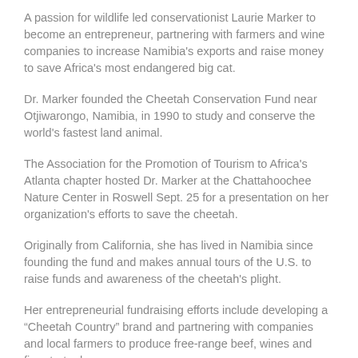A passion for wildlife led conservationist Laurie Marker to become an entrepreneur, partnering with farmers and wine companies to increase Namibia's exports and raise money to save Africa's most endangered big cat.
Dr. Marker founded the Cheetah Conservation Fund near Otjiwarongo, Namibia, in 1990 to study and conserve the world's fastest land animal.
The Association for the Promotion of Tourism to Africa's Atlanta chapter hosted Dr. Marker at the Chattahoochee Nature Center in Roswell Sept. 25 for a presentation on her organization's efforts to save the cheetah.
Originally from California, she has lived in Namibia since founding the fund and makes annual tours of the U.S. to raise funds and awareness of the cheetah's plight.
Her entrepreneurial fundraising efforts include developing a “Cheetah Country” brand and partnering with companies and local farmers to produce free-range beef, wines and fire-starter logs...